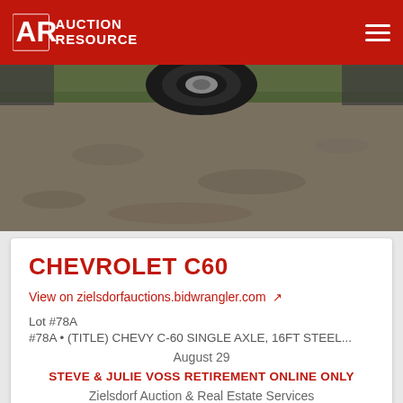Auction Resource
[Figure (photo): Partial photo of a vehicle (tire visible at top) parked on a gravel/dirt surface with grass at the edge]
CHEVROLET C60
View on zielsdorfauctions.bidwrangler.com
Lot #78A
#78A • (TITLE) CHEVY C-60 SINGLE AXLE, 16FT STEEL...
August 29
STEVE & JULIE VOSS RETIREMENT ONLINE ONLY
Zielsdorf Auction & Real Estate Services